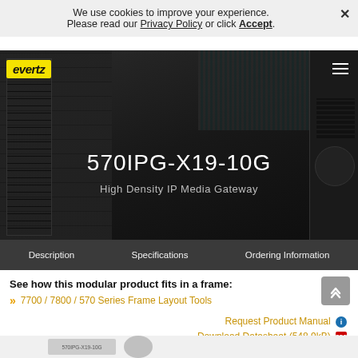We use cookies to improve your experience. Please read our Privacy Policy or click Accept.
[Figure (screenshot): Evertz product hero banner showing dark rack equipment background with 570IPG-X19-10G product title and subtitle 'High Density IP Media Gateway'. Evertz logo in yellow box top left, hamburger menu top right.]
570IPG-X19-10G
High Density IP Media Gateway
Description   Specifications   Ordering Information
See how this modular product fits in a frame:
7700 / 7800 / 570 Series Frame Layout Tools
Request Product Manual
Download Datasheet (548.9kB)
Contact us about this product